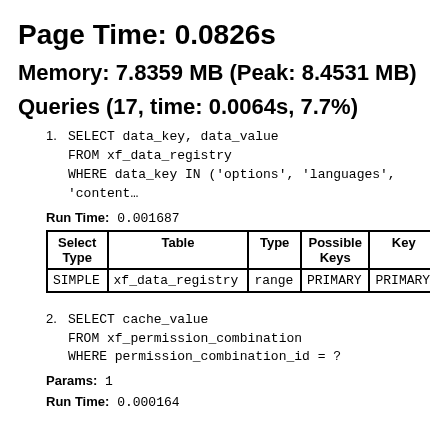Page Time: 0.0826s
Memory: 7.8359 MB (Peak: 8.4531 MB)
Queries (17, time: 0.0064s, 7.7%)
SELECT data_key, data_value
    FROM xf_data_registry
    WHERE data_key IN ('options', 'languages', 'content…
Run Time: 0.001687
| Select Type | Table | Type | Possible Keys | Key | Key Len |
| --- | --- | --- | --- | --- | --- |
| SIMPLE | xf_data_registry | range | PRIMARY | PRIMARY | 27 |
SELECT cache_value
    FROM xf_permission_combination
    WHERE permission_combination_id = ?
Params: 1
Run Time: 0.000164